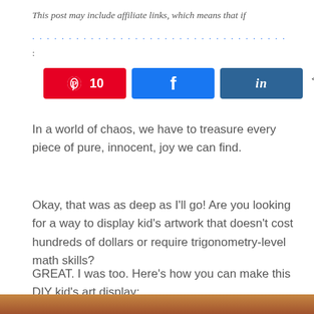This post may include affiliate links, which means that if
... :
[Figure (other): Social share bar with Pinterest (10), Facebook, LinkedIn buttons and share count of 10 SHARES]
In a world of chaos, we have to treasure every piece of pure, innocent, joy we can find.
Okay, that was as deep as I'll go! Are you looking for a way to display kid's artwork that doesn't cost hundreds of dollars or require trigonometry-level math skills?
GREAT. I was too. Here's how you can make this DIY kid's art display:
[Figure (photo): Bottom image strip showing a wooden or craft surface]